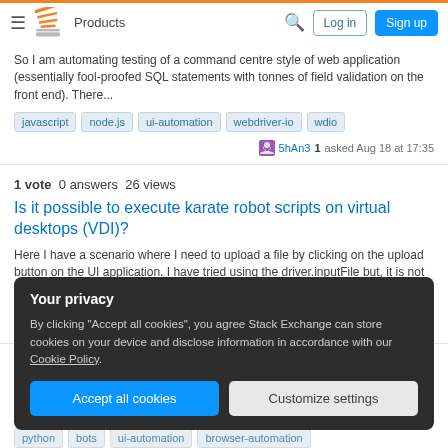≡ [Stack Overflow logo] Products 🔍 Log in  Sign up
So I am automating testing of a command centre style of web application (essentially fool-proofed SQL statements with tonnes of field validation on the front end). There...
javascript  node.js  ui-automation  webdriver-io  wdio
5hAn3 1 asked Aug 18 at 17:35
1 vote  0 answers  26 views
Is it possible to execute karate robot scripts on virtual desktops (VDI)?
Here I have a scenario where I need to upload a file by clicking on the upload button on the UI application. I have tried using the driver.inputFile but, it is not working for…
robotframework  ui-automation  karate
Your privacy
By clicking "Accept all cookies", you agree Stack Exchange can store cookies on your device and disclose information in accordance with our Cookie Policy.
Accept all cookies  Customize settings
python  bots  ui-automation  browser-automation